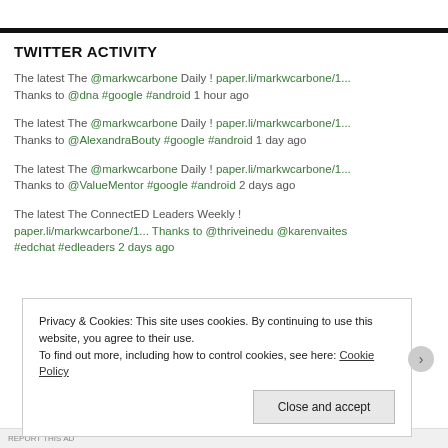TWITTER ACTIVITY
The latest The @markwcarbone Daily ! paper.li/markwcarbone/1... Thanks to @dna #google #android 1 hour ago
The latest The @markwcarbone Daily ! paper.li/markwcarbone/1... Thanks to @AlexandraBouty #google #android 1 day ago
The latest The @markwcarbone Daily ! paper.li/markwcarbone/1... Thanks to @ValueMentor #google #android 2 days ago
The latest The ConnectED Leaders Weekly ! paper.li/markwcarbone/1... Thanks to @thriveinedu @karenvaites #edchat #edleaders 2 days ago
Privacy & Cookies: This site uses cookies. By continuing to use this website, you agree to their use.
To find out more, including how to control cookies, see here: Cookie Policy
Close and accept